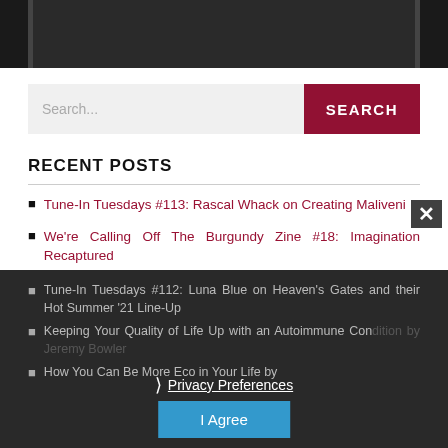[Figure (photo): Top portion of an image showing colorful cartoon/illustrated characters on a dark background, partially cropped]
Search...
RECENT POSTS
Tune-In Tuesdays #113: Rascal Whack on Creating Maliveni
We're Calling Off The Burgundy Zine #18: Imagination Recaptured
Tune-In Tuesdays #112: Luna Blue on Heaven's Gates and their Hot Summer '21 Line-Up
Keeping Your Quality of Life Up with an Autoimmune Condition by Jeremy Bowler
How You Can Be More Eco in Your Life by
Privacy Preferences
I Agree